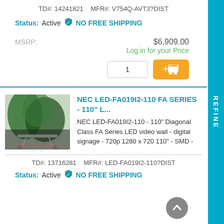TD#: 14241821   MFR#: V754Q-AVT3?DIST
Status: Active  NO FREE SHIPPING
MSRP:  $6,909.00
Log in for your Price
[Figure (screenshot): NEC LED video wall display product thumbnail image]
NEC LED-FA019I2-110 FA SERIES - 110" L...
NEC LED-FA019I2-110 - 110" Diagonal Class FA Series LED video wall - digital signage - 720p 1280 x 720 110" - SMD -
TD#: 13716281   MFR#: LED-FA019I2-110?DIST
Status: Active  NO FREE SHIPPING